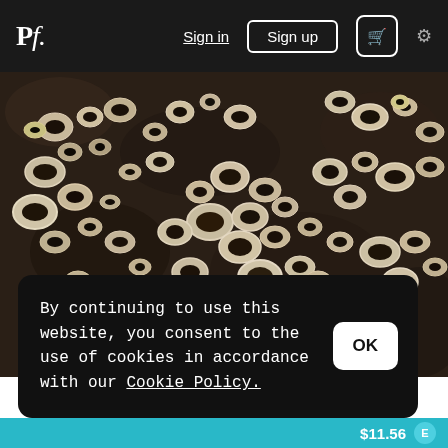Pf. | Sign in | Sign up | cart | settings
[Figure (photo): Close-up photograph of numerous barnacles on a dark rock surface. The barnacles appear as white/cream-colored hollow rings of varying sizes clustered densely together on a dark granite-like substrate.]
By continuing to use this website, you consent to the use of cookies in accordance with our Cookie Policy.
$11.56